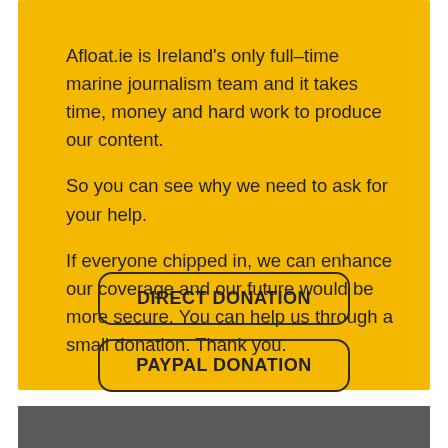Afloat.ie is Ireland's only full–time marine journalism team and it takes time, money and hard work to produce our content.
So you can see why we need to ask for your help.
If everyone chipped in, we can enhance our coverage and our future would be more secure. You can help us through a small donation. Thank you.
DIRECT DONATION
PAYPAL DONATION